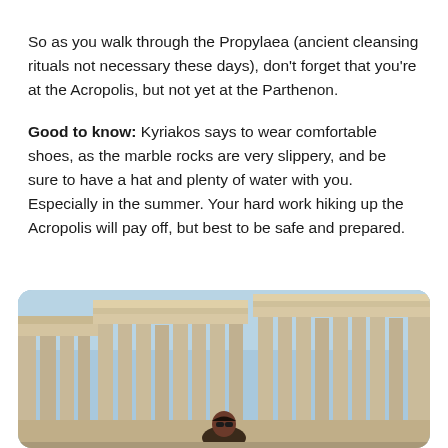So as you walk through the Propylaea (ancient cleansing rituals not necessary these days), don't forget that you're at the Acropolis, but not yet at the Parthenon.
Good to know: Kyriakos says to wear comfortable shoes, as the marble rocks are very slippery, and be sure to have a hat and plenty of water with you. Especially in the summer. Your hard work hiking up the Acropolis will pay off, but best to be safe and prepared.
[Figure (photo): Photo of ancient Greek ruins (Acropolis/Parthenon columns) with a blue sky background and a person visible at the bottom of the frame.]